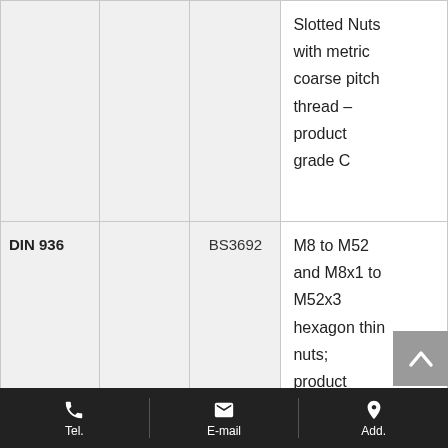| Standard |  | Equivalent | Description |
| --- | --- | --- | --- |
|  |  |  | Slotted Nuts with metric coarse pitch thread – product grade C |
| DIN 936 |  | BS3692 | M8 to M52 and M8x1 to M52x3 hexagon thin nuts; product grades A and B |
Tel.  E-mail  Add.